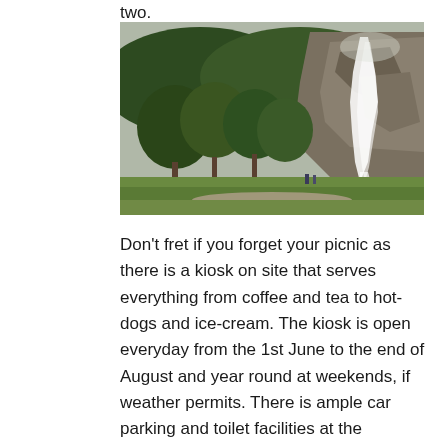two.
[Figure (photo): A waterfall cascading down a rocky cliff face surrounded by green trees and forest, with a grassy field in the foreground and people visible near the base.]
Don't fret if you forget your picnic as there is a kiosk on site that serves everything from coffee and tea to hot-dogs and ice-cream. The kiosk is open everyday from the 1st June to the end of August and year round at weekends, if weather permits. There is ample car parking and toilet facilities at the waterfall. Dogs are